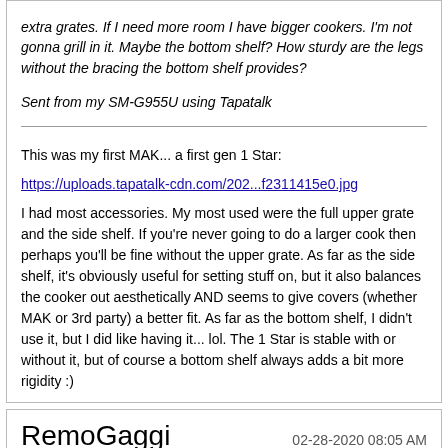extra grates. If I need more room I have bigger cookers. I'm not gonna grill in it. Maybe the bottom shelf? How sturdy are the legs without the bracing the bottom shelf provides?
Sent from my SM-G955U using Tapatalk
This was my first MAK... a first gen 1 Star:
https://uploads.tapatalk-cdn.com/202...f2311415e0.jpg
I had most accessories. My most used were the full upper grate and the side shelf. If you're never going to do a larger cook then perhaps you'll be fine without the upper grate. As far as the side shelf, it's obviously useful for setting stuff on, but it also balances the cooker out aesthetically AND seems to give covers (whether MAK or 3rd party) a better fit. As far as the bottom shelf, I didn't use it, but I did like having it... lol. The 1 Star is stable with or without it, but of course a bottom shelf always adds a bit more rigidity :)
RemoGaggi
02-28-2020 08:05 AM
Quote:
Originally Posted by rwalters (Post 4276944)